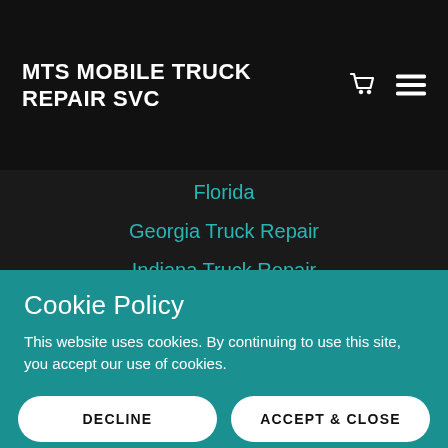MTS MOBILE TRUCK REPAIR SVC
Florida
Georgia Truck Repair
Indiana Truck Repair
Iowa Truck Repair
Idaho Truck Repair
Kansas Truck Repair
Cookie Policy
This website uses cookies. By continuing to use this site, you accept our use of cookies.
DECLINE
ACCEPT & CLOSE